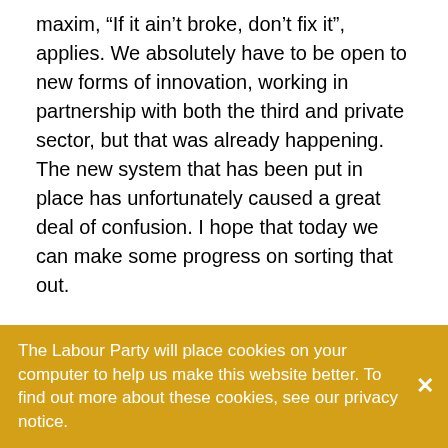maxim, “If it ain’t broke, don’t fix it”, applies. We absolutely have to be open to new forms of innovation, working in partnership with both the third and private sector, but that was already happening. The new system that has been put in place has unfortunately caused a great deal of confusion. I hope that today we can make some progress on sorting that out.
The contracts allow the CRCs to pass back tough cases and still get paid on a fee-for-service basis. A further problem concerns the additional redundancy costs. The probation unions have recently had cause to lodge formal disputes with the national negotiating council on account of one of the CRC owners—in this case Sodexo—refusing to honour the terms of voluntary redundancy under the national staff transfer and protections agreement. Staff
The Labour Party will place cookies on your computer to help us make this website better. To find out more about these cookies, see our privacy notice.